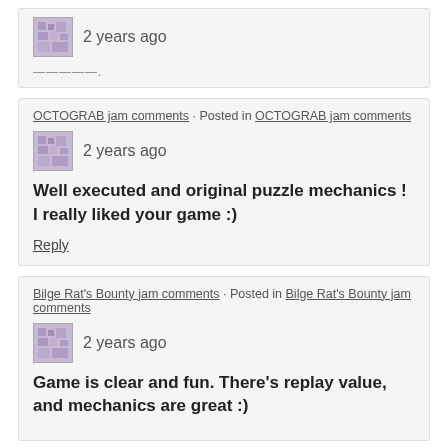2 years ago
Reply
OCTOGRAB jam comments · Posted in OCTOGRAB jam comments
2 years ago
Well executed and original puzzle mechanics ! I really liked your game :)
Reply
Bilge Rat's Bounty jam comments · Posted in Bilge Rat's Bounty jam comments
2 years ago
Game is clear and fun. There's replay value, and mechanics are great :)